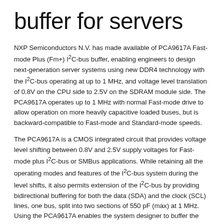buffer for servers
NXP Semiconductors N.V. has made available of PCA9617A Fast-mode Plus (Fm+) I²C-bus buffer, enabling engineers to design next-generation server systems using new DDR4 technology with the I²C-bus operating at up to 1 MHz, and voltage level translation of 0.8V on the CPU side to 2.5V on the SDRAM module side. The PCA9617A operates up to 1 MHz with normal Fast-mode drive to allow operation on more heavily capacitive loaded buses, but is backward-compatible to Fast-mode and Standard-mode speeds.
The PCA9617A is a CMOS integrated circuit that provides voltage level shifting between 0.8V and 2.5V supply voltages for Fast-mode plus I²C-bus or SMBus applications. While retaining all the operating modes and features of the I²C-bus system during the level shifts, it also permits extension of the I²C-bus by providing bidirectional buffering for both the data (SDA) and the clock (SCL) lines, one bus, split into two sections of 550 pF (max) at 1 MHz. Using the PCA9617A enables the system designer to buffer the load capacitance of the bus, and provide voltage level translation. The SDA and SCL pins are overvoltage tolerant and are high impedance when the PCA9617A is unpowered. Evaluation